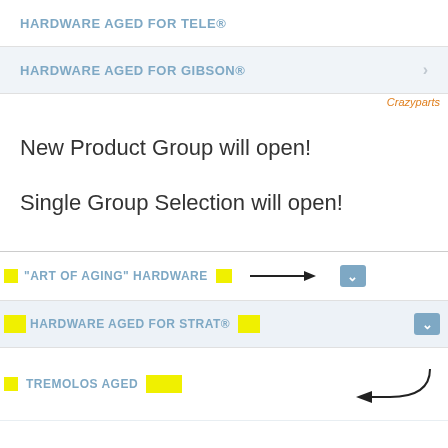HARDWARE AGED FOR TELE®
HARDWARE AGED FOR GIBSON®
Crazyparts
New Product Group will open!
Single Group Selection will open!
"ART OF AGING" HARDWARE
HARDWARE AGED FOR STRAT®
TREMOLOS AGED